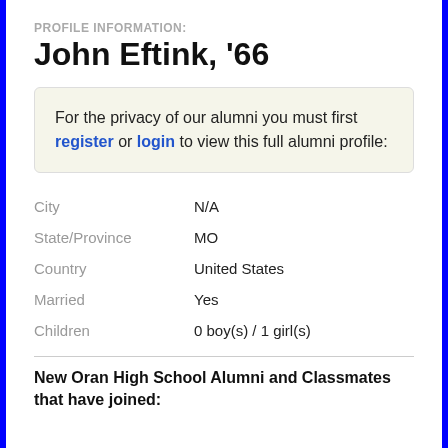PROFILE INFORMATION:
John Eftink, '66
For the privacy of our alumni you must first register or login to view this full alumni profile:
| Field | Value |
| --- | --- |
| City | N/A |
| State/Province | MO |
| Country | United States |
| Married | Yes |
| Children | 0 boy(s) / 1 girl(s) |
New Oran High School Alumni and Classmates that have joined: